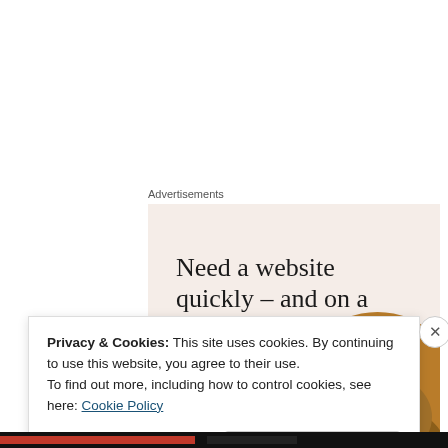Advertisements
[Figure (illustration): Advertisement banner with beige/cream background. Large serif headline: 'Need a website quickly – and on a budget?' Subtext: 'Let us build it for you'. Button: 'Let's get started'. Circular cropped photo of a person working at a desk in a warm brown sweater.]
Privacy & Cookies: This site uses cookies. By continuing to use this website, you agree to their use.
To find out more, including how to control cookies, see here: Cookie Policy
Close and accept